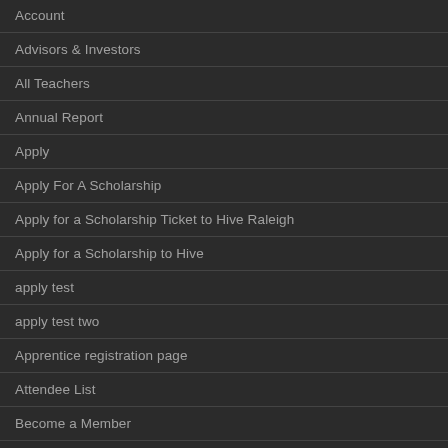Account
Advisors & Investors
All Teachers
Annual Report
Apply
Apply For A Scholarship
Apply for a Scholarship Ticket to Hive Raleigh
Apply for a Scholarship to Hive
apply test
apply test two
Apprentice registration page
Attendee List
Become a Member